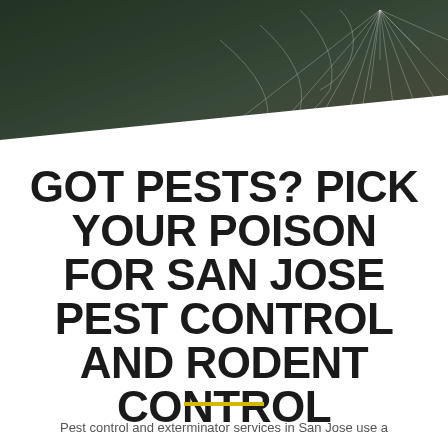[Figure (photo): Dark background photo of a spider web with bokeh effect, dark green/grey tones, with a diagonal white cut across the lower portion]
GOT PESTS? PICK YOUR POISON FOR SAN JOSE PEST CONTROL AND RODENT CONTROL
Pest control and exterminator services in San Jose use a